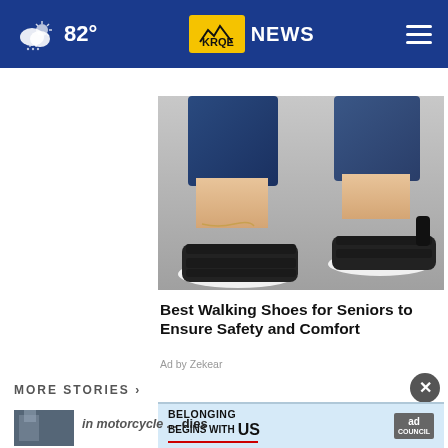82° KRQE NEWS
[Figure (photo): Close-up photo of feet wearing black strappy walking sandals with white soles and an ankle chain, walking on a gray surface, with dark blue jeans visible above]
Best Walking Shoes for Seniors to Ensure Safety and Comfort
Ad by Zekear
MORE STORIES >
[Figure (infographic): Ad banner: 'BELONGING BEGINS WITH US' with Ad Council logo]
...in motorcycle ... dies